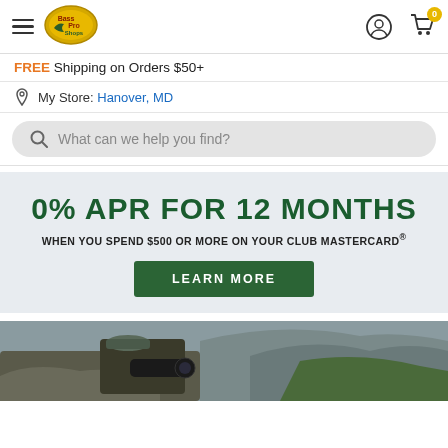[Figure (logo): Bass Pro Shops logo - oval shape with green/yellow, fish and text]
FREE Shipping on Orders $50+
My Store: Hanover, MD
What can we help you find?
0% APR FOR 12 MONTHS
WHEN YOU SPEND $500 OR MORE ON YOUR CLUB MASTERCARD®
LEARN MORE
[Figure (photo): Man in camouflage cap looking through a large camera/spotting scope on rocky terrain outdoors]